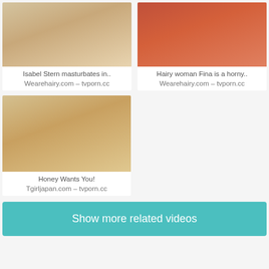[Figure (photo): Thumbnail image - Isabel Stern masturbates video]
Isabel Stern masturbates in..
Wearehairy.com – tvporn.cc
[Figure (photo): Thumbnail image - Hairy woman Fina is a horny video]
Hairy woman Fina is a horny..
Wearehairy.com – tvporn.cc
[Figure (photo): Thumbnail image - Honey Wants You! Tgirljapan.com video]
Honey Wants You!
Tgirljapan.com – tvporn.cc
Show more related videos